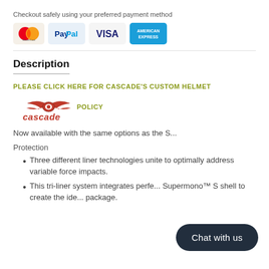Checkout safely using your preferred payment method
[Figure (logo): Payment method icons: MasterCard, PayPal, VISA, American Express]
Description
[Figure (logo): Cascade custom helmet policy link with Cascade logo (eagle and text)]
Now available with the same options as the S...
Protection
Three different liner technologies unite to optimally address variable force impacts.
This tri-liner system integrates perfe... Supermono™ S shell to create the ide... package.
[Figure (other): Chat with us button overlay (dark rounded pill)]